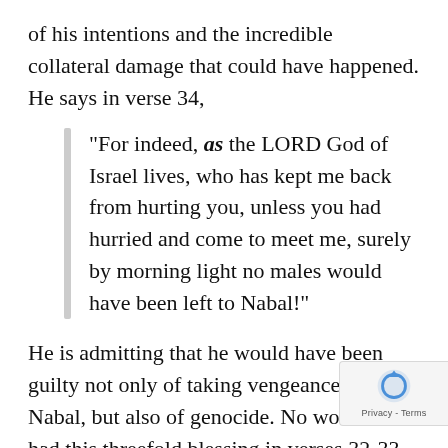of his intentions and the incredible collateral damage that could have happened. He says in verse 34,
"For indeed, as the LORD God of Israel lives, who has kept me back from hurting you, unless you had hurried and come to meet me, surely by morning light no males would have been left to Nabal!"
He is admitting that he would have been guilty not only of taking vengeance on Nabal, but also of genocide. No wonder he had this threefold blessing in verses 32-33. And so point VI says, "Be sure to clearly affirm the seriousness of sin." Too many confessions that I hear don't personal responsibility seriously, and don't take